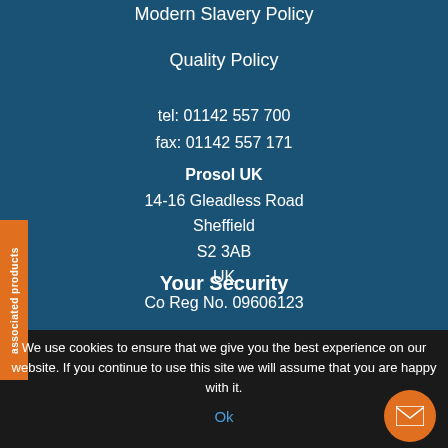Modern Slavery Policy
Quality Policy
tel: 01142 557 700
fax: 01142 557 171
Prosol UK
14-16 Gleadless Road
Sheffield
S2 3AB
UK
Co Reg No. 09606123
Your Security
associated products
We use cookies to ensure that we give you the best experience on our website. If you continue to use this site we will assume that you are happy with it.
Ok